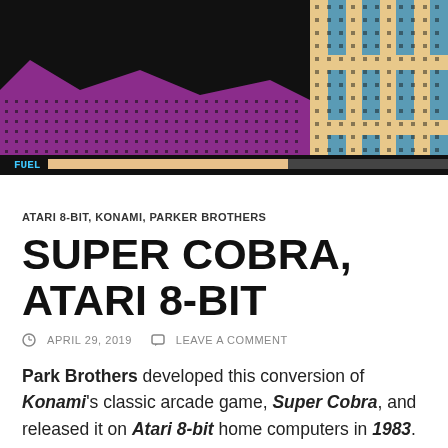[Figure (screenshot): Screenshot of the Super Cobra arcade game on Atari 8-bit, showing pixelated purple and black terrain on the left, with dotted tan and teal patterns on the right, and a 'FUEL' bar at the bottom left]
ATARI 8-BIT, KONAMI, PARKER BROTHERS
SUPER COBRA, ATARI 8-BIT
APRIL 29, 2019   LEAVE A COMMENT
Park Brothers developed this conversion of Konami's classic arcade game, Super Cobra, and released it on Atari 8-bit home computers in 1983.
Continue reading →